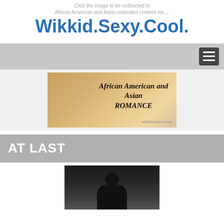Click the image to be redirected to African American and Asian extended content via ...
Wikkid.Sexy.Cool.
[Figure (screenshot): Navigation bar with hamburger menu button on the right]
[Figure (photo): Banner image with text 'African American and Asian ROMANCE' and website URL wikkidsexycool.com]
AT LAST
[Figure (photo): Dark silhouette image of a person against a dark background]